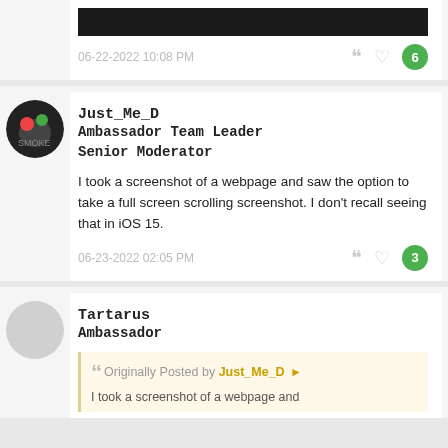[Figure (screenshot): Top partial forum post showing a black redacted image bar, timestamp 06-22-2022 10:08 PM with quote icon, heart icon, and green reply count badge showing 6]
Just_Me_D
Ambassador Team Leader
Senior Moderator
I took a screenshot of a webpage and saw the option to take a full screen scrolling screenshot. I don't recall seeing that in iOS 15.
06-23-2022 02:05 PM
Tartarus
Ambassador
Originally Posted by Just_Me_D
I took a screenshot of a webpage and